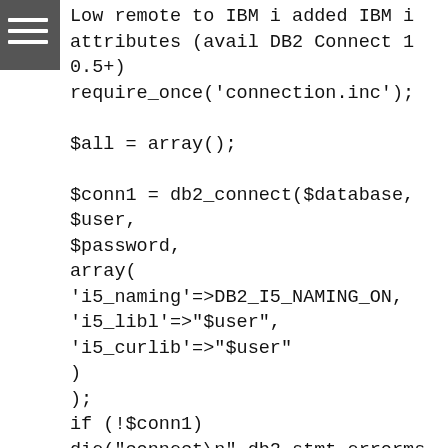Low remote to IBM i added IBM i attributes (avail DB2 Connect 10.5+)
require_once('connection.inc');

$all = array();

$conn1 = db2_connect($database, $user, $password,
array(
'i5_naming'=>DB2_I5_NAMING_ON,
'i5_libl'=>"$user",
'i5_curlib'=>"$user"
)
);
if (!$conn1)
die("connect\n".db2_stmt_errormsg()."\n");

//Drop the dateme table, in case it exists
$drop = "DROP TABLE DATEME";